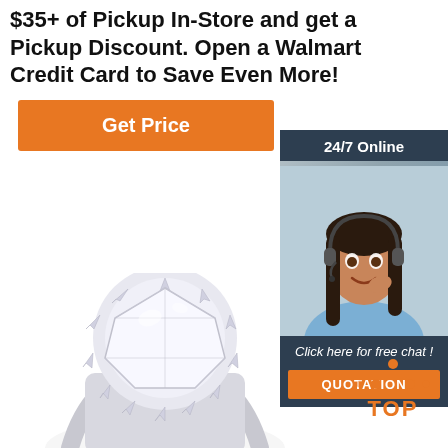$35+ of Pickup In-Store and get a Pickup Discount. Open a Walmart Credit Card to Save Even More!
[Figure (other): Orange 'Get Price' button]
[Figure (other): 24/7 Online chat widget with photo of woman with headset, 'Click here for free chat!' text, and orange QUOTATION button]
[Figure (photo): Close-up photo of a diamond engagement ring with large cushion-cut center stone surrounded by halo of smaller diamonds]
[Figure (logo): TOP logo with orange dots arranged in triangle above the word TOP in orange]